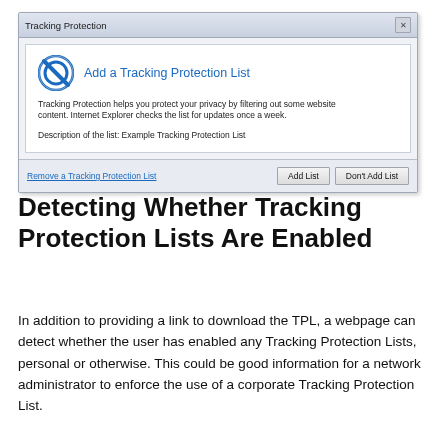[Figure (screenshot): Windows Internet Explorer 'Tracking Protection' dialog box showing 'Add a Tracking Protection List' with a description, a link to remove a tracking protection list, and buttons 'Add List' and 'Don't Add List'.]
Detecting Whether Tracking Protection Lists Are Enabled
In addition to providing a link to download the TPL, a webpage can detect whether the user has enabled any Tracking Protection Lists, personal or otherwise. This could be good information for a network administrator to enforce the use of a corporate Tracking Protection List.